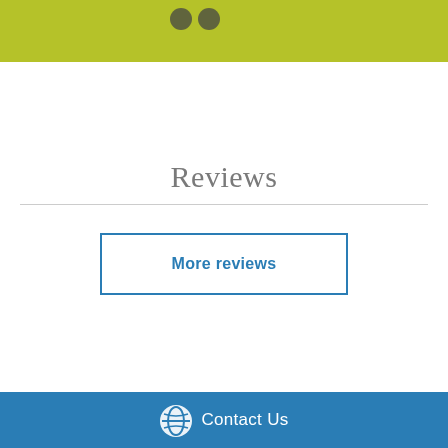[Figure (other): Yellow-green top banner bar with two dark circular dots/icons visible at top]
Reviews
More reviews
Contact Us